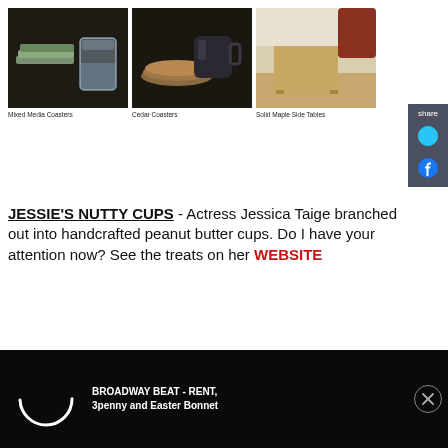[Figure (photo): Three product photos in a row: Mixed Media Coasters (stacked coasters with a glass of water on dark table), Cedar Coasters (round wooden coasters with a dark ceramic mug), and Solid Maple Side Tables (a wooden side table with chair in background)]
Mixed Media Coasters
Cedar Coasters
Solid Maple Side Tables
JESSIE'S NUTTY CUPS - Actress Jessica Taige branched out into handcrafted peanut butter cups. Do I have your attention now? See the treats on her WEBSITE
[Figure (screenshot): Video player loading screen with Broadway Beat title: BROADWAY BEAT - RENT, 3penny and Easter Bonnet. Shows a circular loading spinner on black background with close button.]